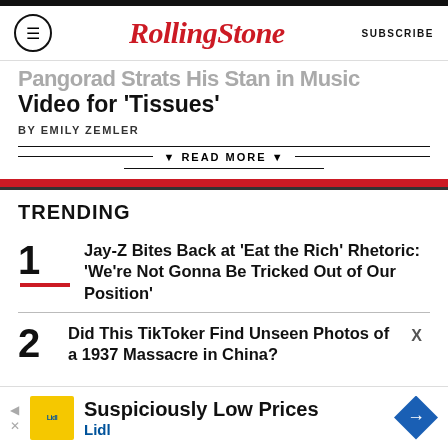RollingStone | SUBSCRIBE
Pangorad Strats His Stan in Music Video for 'Tissues'
BY EMILY ZEMLER
▼ READ MORE ▼
TRENDING
1 Jay-Z Bites Back at 'Eat the Rich' Rhetoric: 'We're Not Gonna Be Tricked Out of Our Position'
2 Did This TikToker Find Unseen Photos of a 1937 Massacre in China?
Suspiciously Low Prices Lidl